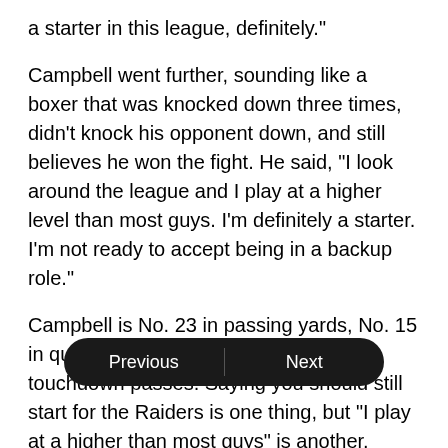a starter in this league, definitely."
Campbell went further, sounding like a boxer that was knocked down three times, didn't knock his opponent down, and still believes he won the fight. He said, "I look around the league and I play at a higher level than most guys. I'm definitely a starter. I'm not ready to accept being in a backup role."
Campbell is No. 23 in passing yards, No. 15 in quarterback rating and No. 25 in touchdown passes. Saying you should still start for the Raiders is one thing, but "I play at a higher than most guys" is another.
You're basically saying you're a great quarterback while your stats say you're the epitome of average. I guess that's what happens w[...] a few games with you at quarterback.